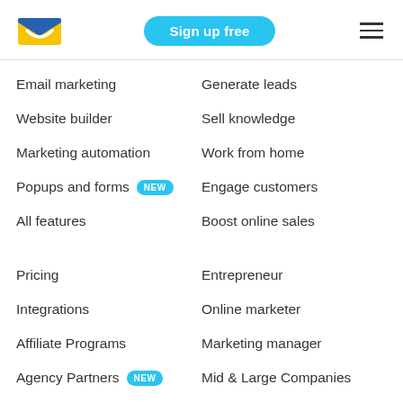[Figure (logo): Sendinblue envelope logo - blue and yellow]
Sign up free
[Figure (other): Hamburger menu icon with three horizontal lines]
Email marketing
Generate leads
Website builder
Sell knowledge
Marketing automation
Work from home
Popups and forms NEW
Engage customers
All features
Boost online sales
Pricing
Entrepreneur
Integrations
Online marketer
Affiliate Programs
Marketing manager
Agency Partners NEW
Mid & Large Companies